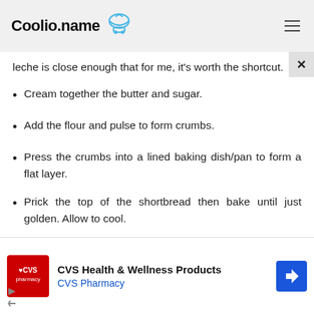Coolio.name
leche is close enough that for me, it's worth the shortcut.
Cream together the butter and sugar.
Add the flour and pulse to form crumbs.
Press the crumbs into a lined baking dish/pan to form a flat layer.
Prick the top of the shortbread then bake until just golden. Allow to cool.
[Figure (infographic): CVS Health & Wellness Products advertisement banner with CVS Pharmacy logo, navigation arrow icon, and ad controls]